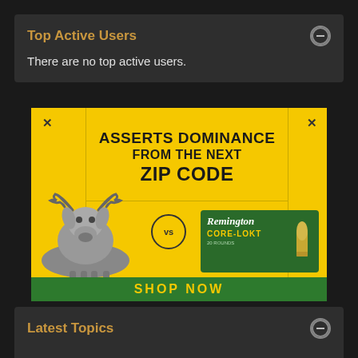Top Active Users
There are no top active users.
[Figure (illustration): Advertisement for Remington Core-Lokt ammunition. Yellow background with bold black text reading 'ASSERTS DOMINANCE FROM THE NEXT ZIP CODE'. Shows a deer on the left, a Remington Core-Lokt ammo box on the right, with 'vs' circle between them. Green 'SHOP NOW' bar at bottom.]
Latest Topics